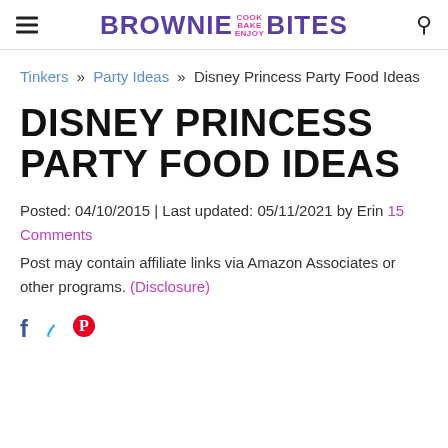BROWNIE BITES — Cook Bake Enjoy
Tinkers » Party Ideas » Disney Princess Party Food Ideas
DISNEY PRINCESS PARTY FOOD IDEAS
Posted: 04/10/2015 | Last updated: 05/11/2021 by Erin 15 Comments
Post may contain affiliate links via Amazon Associates or other programs. (Disclosure)